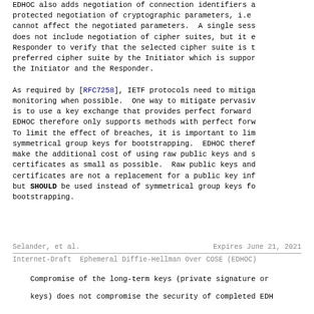EDHOC also adds negotiation of connection identifiers and protected negotiation of cryptographic parameters, i.e. cannot affect the negotiated parameters. A single sess does not include negotiation of cipher suites, but it e Responder to verify that the selected cipher suite is t preferred cipher suite by the Initiator which is suppor the Initiator and the Responder.
As required by [RFC7258], IETF protocols need to mitiga monitoring when possible. One way to mitigate pervasiv is to use a key exchange that provides perfect forward EDHOC therefore only supports methods with perfect forw To limit the effect of breaches, it is important to lim symmetrical group keys for bootstrapping. EDHOC theref make the additional cost of using raw public keys and s certificates as small as possible. Raw public keys and certificates are not a replacement for a public key inf but SHOULD be used instead of symmetrical group keys fo bootstrapping.
Selander, et al.         Expires June 21, 2021
Internet-Draft  Ephemeral Diffie-Hellman Over COSE (EDHOC)
Compromise of the long-term keys (private signature or keys) does not compromise the security of completed EDH